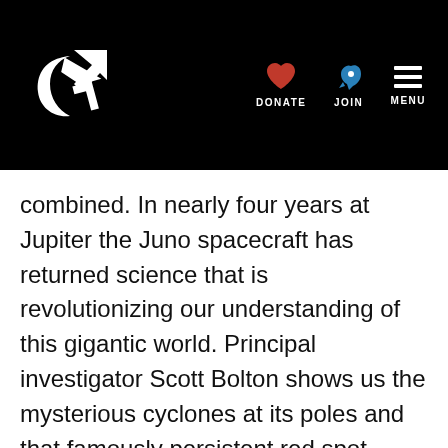Planetary Society website header with logo, DONATE, JOIN, and MENU navigation
combined. In nearly four years at Jupiter the Juno spacecraft has returned science that is revolutionizing our understanding of this gigantic world. Principal investigator Scott Bolton shows us the mysterious cyclones at its poles and that famously persistent red spot. Casey Dreier says the United States House of Representatives has proposed legislation that is at odds with NASA's current Moon and Mars plans. John Flamsteed almost discovered Uranus! Bruce Betts will tell us where he went